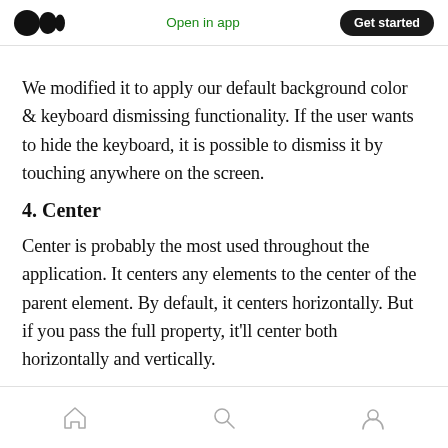Medium — Open in app | Get started
We modified it to apply our default background color & keyboard dismissing functionality. If the user wants to hide the keyboard, it is possible to dismiss it by touching anywhere on the screen.
4. Center
Center is probably the most used throughout the application. It centers any elements to the center of the parent element. By default, it centers horizontally. But if you pass the full property, it'll center both horizontally and vertically.
Home | Search | Profile